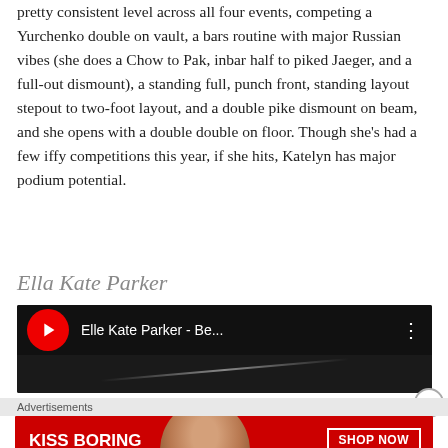pretty consistent level across all four events, competing a Yurchenko double on vault, a bars routine with major Russian vibes (she does a Chow to Pak, inbar half to piked Jaeger, and a full-out dismount), a standing full, punch front, standing layout stepout to two-foot layout, and a double pike dismount on beam, and she opens with a double double on floor. Though she's had a few iffy competitions this year, if she hits, Katelyn has major podium potential.
Ella Kate Parker
[Figure (screenshot): YouTube video embed thumbnail showing 'Elle Kate Parker - Be...' with red YouTube icon and black background]
Advertisements
[Figure (photo): Macy's advertisement banner with red background showing 'KISS BORING LIPS GOODBYE' text and SHOP NOW button with Macy's star logo, featuring a woman's face with red lipstick]